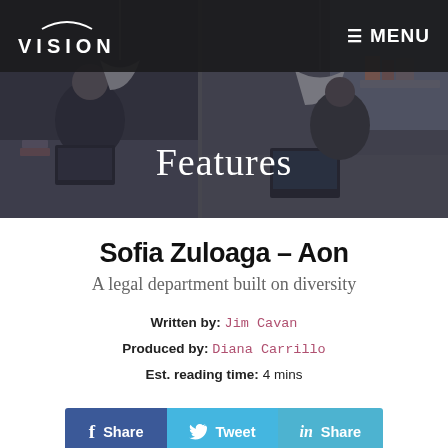VISION | MENU
[Figure (photo): Office/library background photo with people working at desks under pendant lights, overlaid with dark semi-transparent layer]
Features
Sofia Zuloaga – Aon
A legal department built on diversity
Written by: Jim Cavan
Produced by: Diana Carrillo
Est. reading time: 4 mins
[Figure (infographic): Social share buttons: Facebook Share, Tweet, LinkedIn Share]